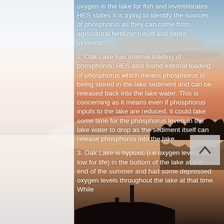oxygen in the lake for fish and invertebrates. HES states it is trying to identify the sources of phosphorus as they can come from agricultural fertilizer runoff and septic systems.
2. Oak Lake has internal loading of phosphorus. HES also found internal loading of phosphorus which means phosphorus is being stored in the lake sediment and can be released back into the lake water. This is concerning as it means even if phosphorus inputs to the lake are reduced, it could take some time for the phosphorus levels in the lake water to drop as the sediment itself can release phosphorus into the lake.
3. Oak Lake is hypoxic (i.e oxygen levels too low for life) in the bottom of the lake at the end of the summer and had some depressed oxygen levels throughout the lake at that time. While